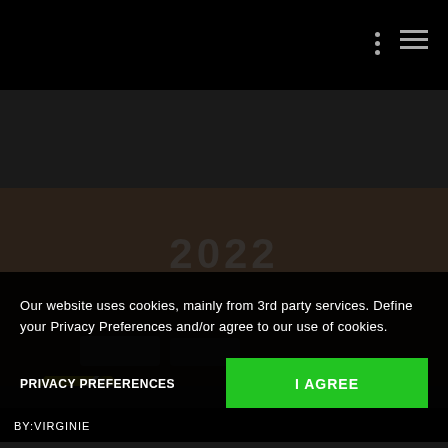Navigation bar with dots and menu icons
[Figure (screenshot): Screenshot of a video game or website showing an 'UPDATE' banner in yellow diagonal, a triangular logo in the center, and a 'FLUX - Quantum Technology' panel on the right side with brownish background]
Our website uses cookies, mainly from 3rd party services. Define your Privacy Preferences and/or agree to our use of cookies.
PRIVACY PREFERENCES
I AGREE
BY:VIRGINIE